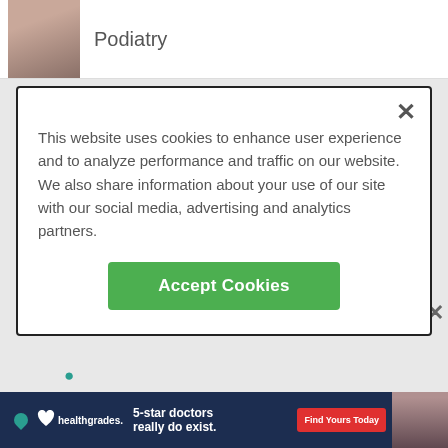Podiatry
This website uses cookies to enhance user experience and to analyze performance and traffic on our website. We also share information about your use of our site with our social media, advertising and analytics partners.
Accept Cookies
Dr. Richard Graves, DPM
Age 57 | Podiatry Sports Medicine
3 reviews
ADVERTISEMENT
[Figure (photo): Healthgrades advertisement banner: 5-star doctors really do exist. Find Yours Today.]